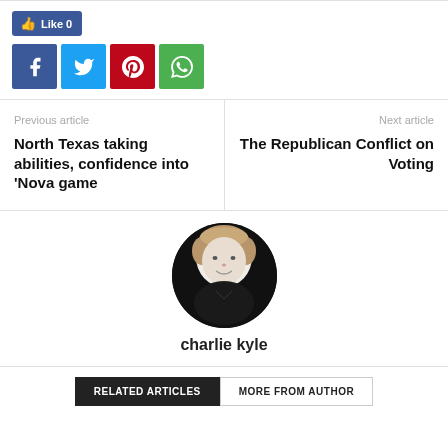[Figure (infographic): Social sharing buttons: Like 0 button (Facebook blue), and four square social media icons: Facebook (f), Twitter (bird), Pinterest (p), WhatsApp (phone)]
Previous article
North Texas taking abilities, confidence into 'Nova game
Next article
The Republican Conflict on Voting
[Figure (photo): Author photo of charlie kyle — young man with light brown hair wearing a dark polo shirt, white background]
charlie kyle
RELATED ARTICLES   MORE FROM AUTHOR